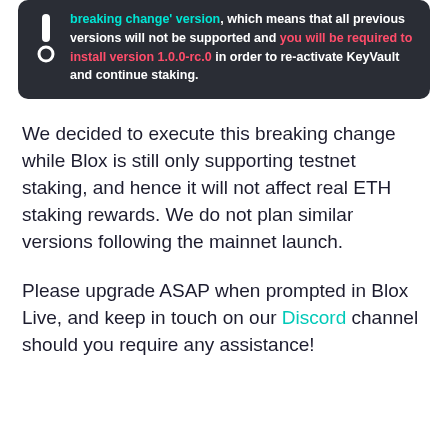[Figure (infographic): Dark notification box with exclamation icon, text warning about breaking change version requiring install of version 1.0.0-rc.0 to re-activate KeyVault and continue staking.]
We decided to execute this breaking change while Blox is still only supporting testnet staking, and hence it will not affect real ETH staking rewards. We do not plan similar versions following the mainnet launch.
Please upgrade ASAP when prompted in Blox Live, and keep in touch on our Discord channel should you require any assistance!